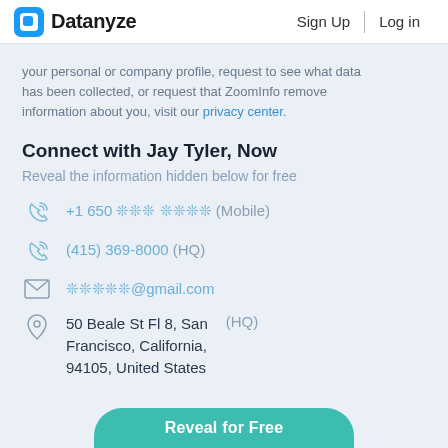Datanyze | Sign Up | Log in
your personal or company profile, request to see what data has been collected, or request that ZoomInfo remove information about you, visit our privacy center.
Connect with Jay Tyler, Now
Reveal the information hidden below for free
+1 650 *** **** (Mobile)
(415) 369-8000 (HQ)
*****@gmail.com
50 Beale St Fl 8, San Francisco, California, 94105, United States (HQ)
Reveal for Free